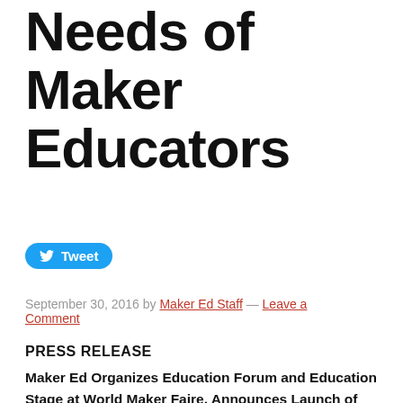Needs of Maker Educators
[Figure (other): Twitter Tweet button (blue pill-shaped button with Twitter bird icon and 'Tweet' text)]
September 30, 2016 by Maker Ed Staff — Leave a Comment
PRESS RELEASE
Maker Ed Organizes Education Forum and Education Stage at World Maker Faire, Announces Launch of Professional Development Course Offerings and New Research Findings on the Needs of Maker Educators